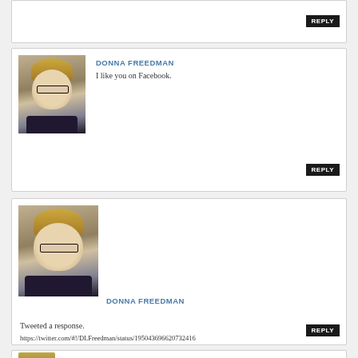[Figure (other): Reply button at top of page]
[Figure (photo): Avatar photo of Donna Freedman - woman with blonde hair and glasses]
DONNA FREEDMAN
I like you on Facebook.
[Figure (other): Reply button]
[Figure (photo): Avatar photo of Donna Freedman - woman with blonde hair and glasses]
DONNA FREEDMAN
Tweeted a response.
https://twitter.com/#!/DLFreedman/status/195043696620732416
[Figure (other): Reply button]
[Figure (photo): Partial avatar photo at bottom]